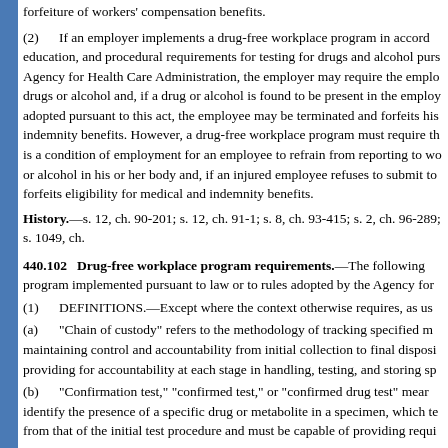forfeiture of workers' compensation benefits.
(2)   If an employer implements a drug-free workplace program in accord education, and procedural requirements for testing for drugs and alcohol purs Agency for Health Care Administration, the employer may require the emplo drugs or alcohol and, if a drug or alcohol is found to be present in the employ adopted pursuant to this act, the employee may be terminated and forfeits his indemnity benefits. However, a drug-free workplace program must require th is a condition of employment for an employee to refrain from reporting to wo or alcohol in his or her body and, if an injured employee refuses to submit to forfeits eligibility for medical and indemnity benefits.
History.—s. 12, ch. 90-201; s. 12, ch. 91-1; s. 8, ch. 93-415; s. 2, ch. 96-289; s. 1049, ch.
440.102   Drug-free workplace program requirements.—The following program implemented pursuant to law or to rules adopted by the Agency for
(1)   DEFINITIONS.—Except where the context otherwise requires, as us
(a)   "Chain of custody" refers to the methodology of tracking specified m maintaining control and accountability from initial collection to final disposi providing for accountability at each stage in handling, testing, and storing sp
(b)   "Confirmation test," "confirmed test," or "confirmed drug test" mear identify the presence of a specific drug or metabolite in a specimen, which te from that of the initial test procedure and must be capable of providing requi accuracy.
(c)   "Drug" means alcohol, including a distilled spirit, wine, a malt bever